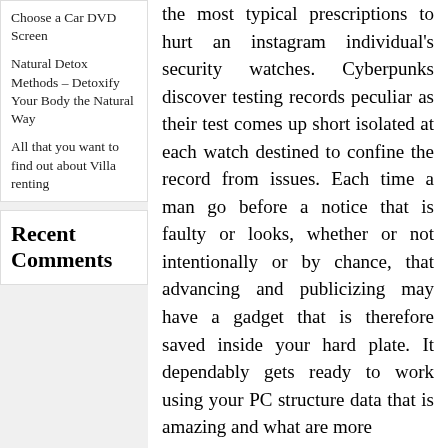Choose a Car DVD Screen
Natural Detox Methods – Detoxify Your Body the Natural Way
All that you want to find out about Villa renting
Recent Comments
the most typical prescriptions to hurt an instagram individual's security watches. Cyberpunks discover testing records peculiar as their test comes up short isolated at each watch destined to confine the record from issues. Each time a man go before a notice that is faulty or looks, whether or not intentionally or by chance, that advancing and publicizing may have a gadget that is therefore saved inside your hard plate. It dependably gets ready to work using your PC structure data that is amazing and what are more